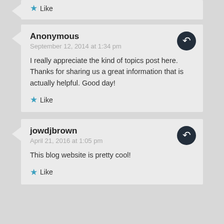Like
Anonymous
September 12, 2014 at 1:34 pm
I really appreciate the kind of topics post here. Thanks for sharing us a great information that is actually helpful. Good day!
Like
jowdjbrown
April 21, 2016 at 1:05 pm
This blog website is pretty cool!
Like